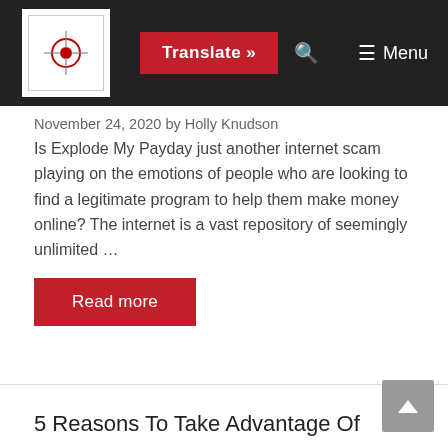Translate » Menu
November 24, 2020 by Holly Knudson
Is Explode My Payday just another internet scam playing on the emotions of people who are looking to find a legitimate program to help them make money online? The internet is a vast repository of seemingly unlimited ...
Read more
5 Reasons To Take Advantage Of